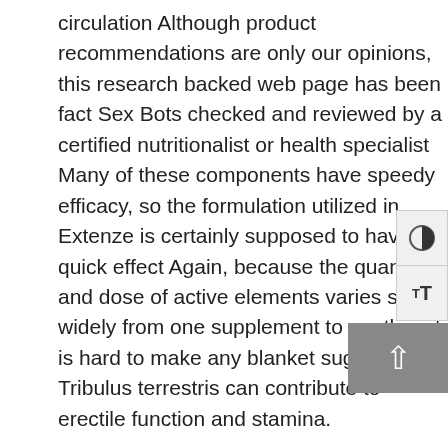circulation Although product recommendations are only our opinions, this research backed web page has been fact Sex Bots checked and reviewed by a certified nutritionalist or health specialist Many of these components have speedy efficacy, so the formulation utilized in Extenze is certainly supposed to have a quick effect Again, because the quantity and dose of active elements varies so widely from one supplement to another, it is hard to make any blanket suggestions Tribulus terrestris can contribute to erectile function and stamina.
Yet as the components remain to accumulate in the physique, you ll experience extra vital outcomes, including tougher erections, heightened libido, and likewise increased stamina These tablets are formulated with tested, all natural components specifically chosen to enhance blood circulate